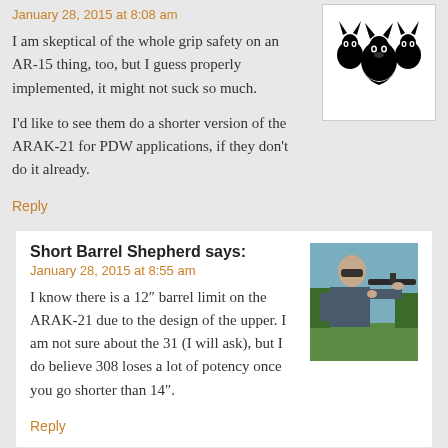January 28, 2015 at 8:08 am
I am skeptical of the whole grip safety on an AR-15 thing, too, but I guess properly implemented, it might not suck so much.
I’d like to see them do a shorter version of the ARAK-21 for PDW applications, if they don’t do it already.
[Figure (illustration): Three-headed dog logo illustration in black and white]
Reply
Short Barrel Shepherd says:
January 28, 2015 at 8:55 am
I know there is a 12″ barrel limit on the ARAK-21 due to the design of the upper. I am not sure about the 31 (I will ask), but I do believe 308 loses a lot of potency once you go shorter than 14″.
[Figure (photo): Person shooting a rifle, outdoor setting]
Reply